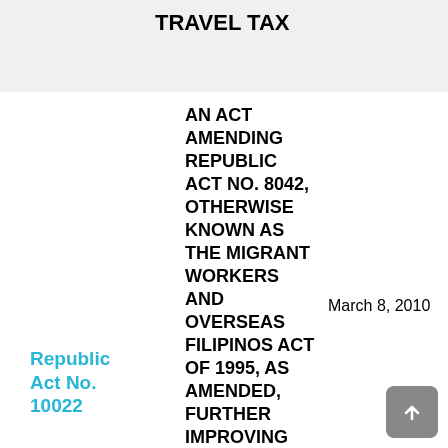PAYING THE TRAVEL TAX
Republic Act No. 10022
AN ACT AMENDING REPUBLIC ACT NO. 8042, OTHERWISE KNOWN AS THE MIGRANT WORKERS AND OVERSEAS FILIPINOS ACT OF 1995, AS AMENDED, FURTHER IMPROVING THE STANDARD OF PROTECTION AND PROMOTION OF THE WELFARE OF MIGRANT WORKERS, THEIR FAMILIES AND OVERSEAS FILIPINOS IN DISTRESS, AND
March 8, 2010